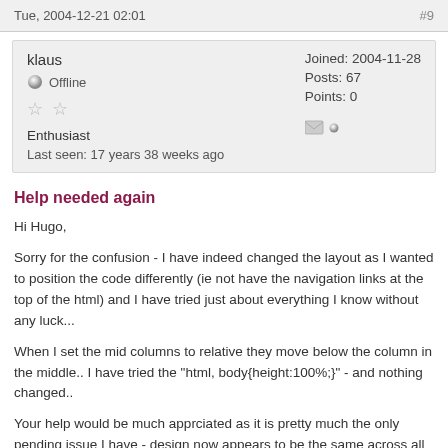Tue, 2004-12-21 02:01   #9
| klaus | Joined: 2004-11-28 |
| Offline | Posts: 67 |
| ☆ ☆ | Points: 0 |
| Enthusiast |  |
| Last seen: 17 years 38 weeks ago |  |
Help needed again
Hi Hugo,
Sorry for the confusion - I have indeed changed the layout as I wanted to position the code differently (ie not have the navigation links at the top of the html) and I have tried just about everything I know without any luck...
When I set the mid columns to relative they move below the column in the middle.. I have tried the "html, body{height:100%;}" - and nothing changed..
Your help would be much apprciated as it is pretty much the only pending issue I have - design now appears to be the same across all browsers that I know of - except that color thing - and that is only a